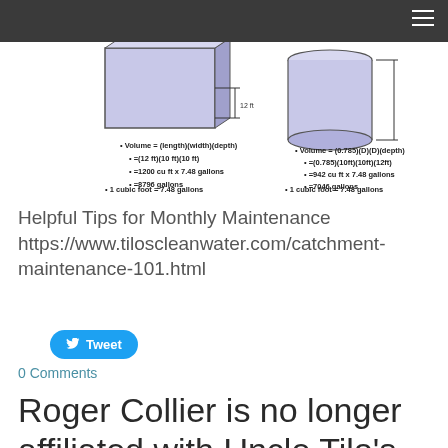[Figure (schematic): Diagram showing volume calculation for rectangular and cylindrical tanks. Left side shows rectangular tank with bullet points: Volume = (length)(width)(depth), =(12 ft)(10 ft)(10 ft), =1200 cu ft x 7.48 gallons, =8796 gallons, and 1 cubic foot = 7.48 gallons. Right side shows cylindrical tank with bullet points: Volume = (0.785)(D)(D)(depth), =(0.785)(10ft)(10ft)(12ft), =942 cu ft x 7.48 gallons, =7046 gallons, and 1 cubic foot = 7.48 gallons.]
Helpful Tips for Monthly Maintenance https://www.tiloscleanwater.com/catchment-maintenance-101.html
[Figure (other): Tweet button with Twitter bird icon]
0 Comments
Roger Collier is no longer affiliated with Uncle Tilo's Clean